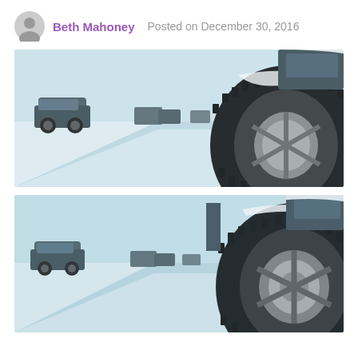Beth Mahoney  Posted on December 30, 2016
[Figure (photo): Close-up low-angle photograph of a car winter tire with snow on it, parked on a snowy road with other vehicles visible in the background in a cold winter scene. Cool blue-tinted tones.]
[Figure (photo): Second version of the same close-up low-angle photograph of a car winter tire with snow on it on a snowy road, slightly cropped differently showing more of the tire tread and rim. Cool blue-tinted tones.]